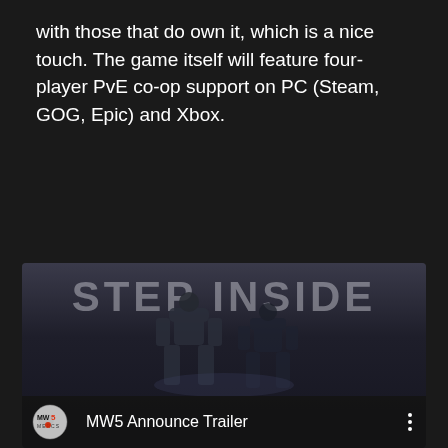with those that do own it, which is a nice touch. The game itself will feature four-player PvE co-op support on PC (Steam, GOG, Epic) and Xbox.
[Figure (screenshot): Video thumbnail for 'MW5 Announce Trailer' showing armored mech figures with 'STEP INSIDE' text overlay and MW5 Mercs logo in the lower-left corner.]